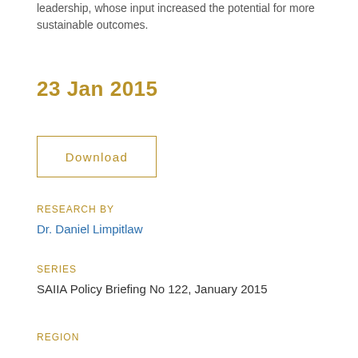leadership, whose input increased the potential for more sustainable outcomes.
23 Jan 2015
Download
RESEARCH BY
Dr. Daniel Limpitlaw
SERIES
SAIIA Policy Briefing No 122, January 2015
REGION